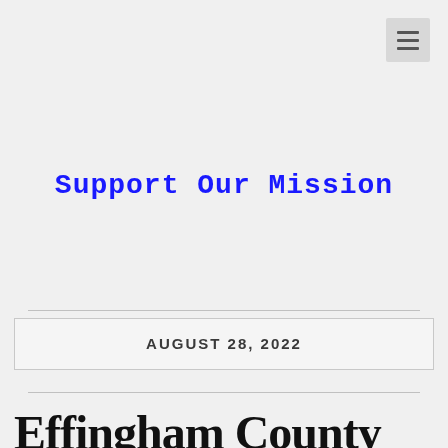[Figure (other): Hamburger menu icon button in top right corner]
Support Our Mission
AUGUST 28, 2022
Effingham County Sheriff on